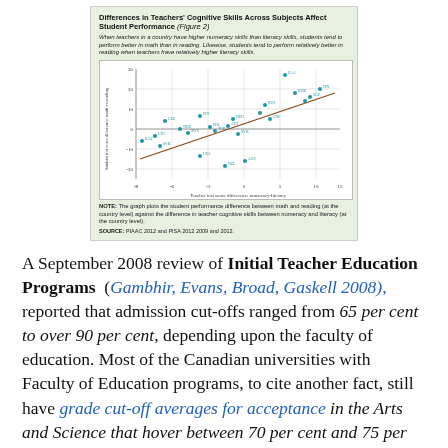[Figure (continuous-plot): Scatter plot with regression line showing student test score difference (math minus reading) on y-axis vs. teacher test score difference (numeracy minus literacy) on x-axis. Positive trend line. Various country labels scattered around points.]
A September 2008 review of Initial Teacher Education Programs  (Gambhir, Evans, Broad, Gaskell 2008), reported that admission cut-offs ranged from 65 per cent to over 90 per cent, depending upon the faculty of education. Most of the Canadian universities with Faculty of Education programs, to cite another fact, still have grade cut-off averages for acceptance in the Arts and Science that hover between 70 per cent and 75 per cent